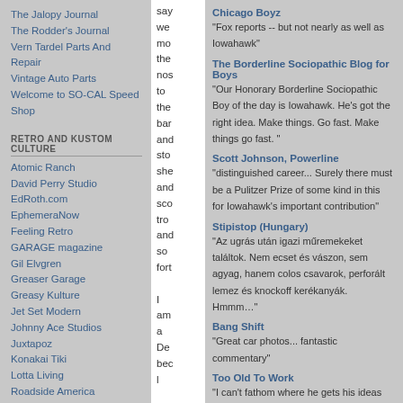The Jalopy Journal
The Rodder's Journal
Vern Tardel Parts And Repair
Vintage Auto Parts
Welcome to SO-CAL Speed Shop
RETRO AND KUSTOM CULTURE
Atomic Ranch
David Perry Studio
EdRoth.com
EphemeraNow
Feeling Retro
GARAGE magazine
Gil Elvgren
Greaser Garage
Greasy Kulture
Jet Set Modern
Johnny Ace Studios
Juxtapoz
Konakai Tiki
Lotta Living
Roadside America
say we mo the nos to the bar and sto she and sco tro and so fort l am a De bec l
Chicago Boyz — "Fox reports -- but not nearly as well as Iowahawk"
The Borderline Sociopathic Blog for Boys — "Our Honorary Borderline Sociopathic Boy of the day is Iowahawk. He's got the right idea. Make things. Go fast. Make things go fast."
Scott Johnson, Powerline — "distinguished career... Surely there must be a Pulitzer Prize of some kind in this for Iowahawk's important contribution"
Stipistop (Hungary) — "Az ugrás után igazi műremekeket találtok. Nem ecset és vászon, sem agyag, hanem colos csavarok, perforált lemez és knockoff kerékanyák. Hmmm…"
Bang Shift — "Great car photos... fantastic commentary"
Too Old To Work — "I can't fathom where he gets his ideas from, unless it's a deeply disturbed mind."
John Hinderaker, Powerline — "Funniest thing I've ever read on the web? It might be. It also is the most incisive commentary on the 'Skip' Gates affair that I've seen"
Moxie — "hilarious"
Mary Katharine Ham, the Weekly Standard